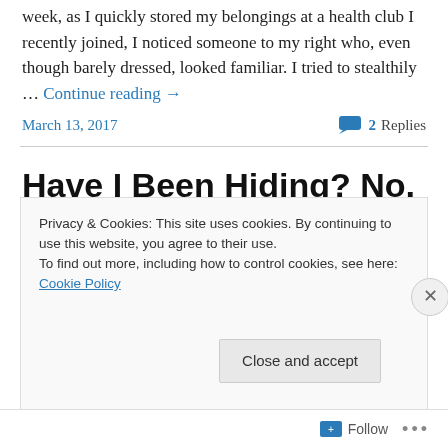week, as I quickly stored my belongings at a health club I recently joined, I noticed someone to my right who, even though barely dressed, looked familiar. I tried to stealthily … Continue reading →
March 13, 2017
2 Replies
Have I Been Hiding? No, Just Writing Elsewhere
“Artists are people driven by the tension between the
Privacy & Cookies: This site uses cookies. By continuing to use this website, you agree to their use.
To find out more, including how to control cookies, see here: Cookie Policy
Close and accept
Follow